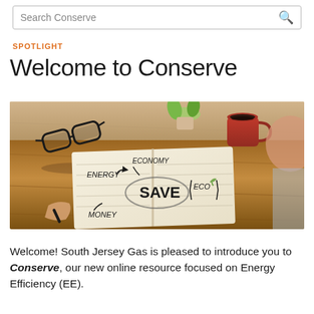Search Conserve
SPOTLIGHT
Welcome to Conserve
[Figure (photo): Overhead view of a person writing in a notebook on a wooden desk. The notebook shows hand-drawn text and arrows reading ENERGY, ECONOMY, SAVE (circled, bold), ECO, and MONEY. A red coffee mug, glasses, and a small plant are also on the desk.]
Welcome! South Jersey Gas is pleased to introduce you to Conserve, our new online resource focused on Energy Efficiency (EE).